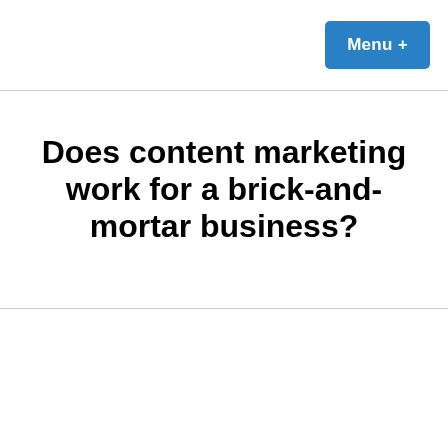Menu +
Does content marketing work for a brick-and-mortar business?